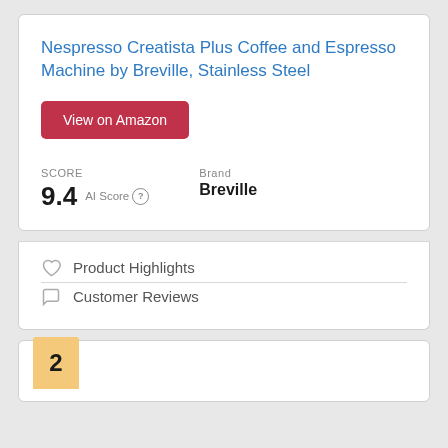Nespresso Creatista Plus Coffee and Espresso Machine by Breville, Stainless Steel
View on Amazon
SCORE
9.4 AI Score
Brand
Breville
Product Highlights
Customer Reviews
2